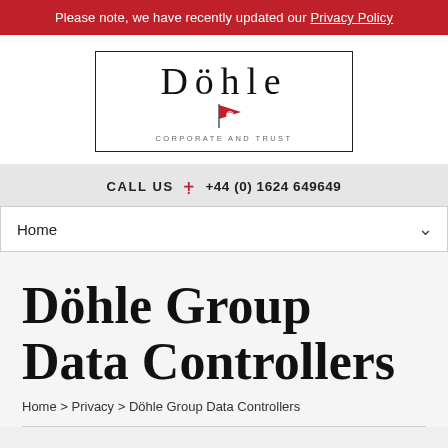Please note, we have recently updated our Privacy Policy
[Figure (logo): Döhle Corporate and Trust logo — a bordered rectangular box containing serif text 'Döhle' with a red flag emblem below it, and the subtitle 'CORPORATE AND TRUST' in spaced capitals]
CALL US : +44 (0) 1624 649649
Home
Döhle Group Data Controllers
Home > Privacy > Döhle Group Data Controllers